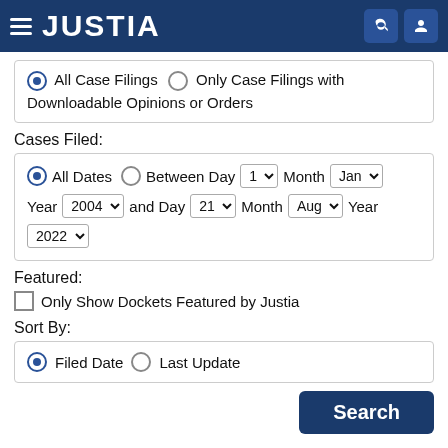JUSTIA
All Case Filings  Only Case Filings with Downloadable Opinions or Orders
Cases Filed:
All Dates  Between Day 1 Month Jan Year 2004 and Day 21 Month Aug Year 2022
Featured:
Only Show Dockets Featured by Justia
Sort By:
Filed Date  Last Update
Search